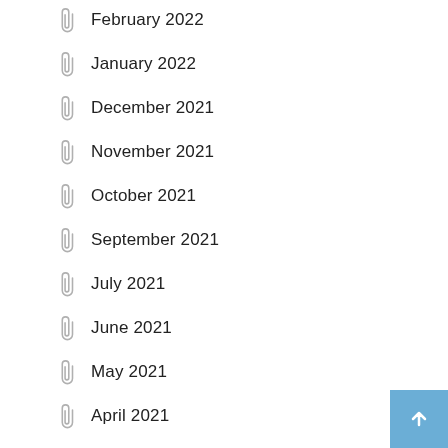February 2022
January 2022
December 2021
November 2021
October 2021
September 2021
July 2021
June 2021
May 2021
April 2021
March 2021